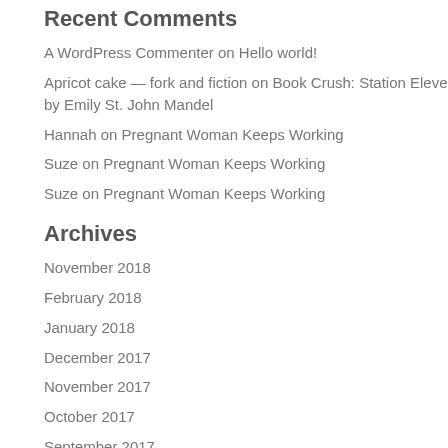Recent Comments
A WordPress Commenter on Hello world!
Apricot cake — fork and fiction on Book Crush: Station Eleven by Emily St. John Mandel
Hannah on Pregnant Woman Keeps Working
Suze on Pregnant Woman Keeps Working
Suze on Pregnant Woman Keeps Working
Archives
November 2018
February 2018
January 2018
December 2017
November 2017
October 2017
September 2017